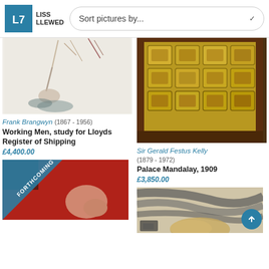Liss Llewelyn — Sort pictures by...
[Figure (photo): Painting study showing figures/legs on light background — Frank Brangwyn artwork]
Frank Brangwyn (1867 - 1956)
Working Men, study for Lloyds Register of Shipping
£4,400.00
[Figure (photo): Painting of ornate golden door panels on reddish-brown background — Sir Gerald Festus Kelly artwork]
Sir Gerald Festus Kelly (1879 - 1972)
Palace Mandalay, 1909
£3,850.00
[Figure (photo): Painting showing a foot against red background with FORTHCOMING diagonal ribbon badge]
[Figure (photo): Painting with grey brushstrokes and yellow/tan figure — partial view at bottom right]